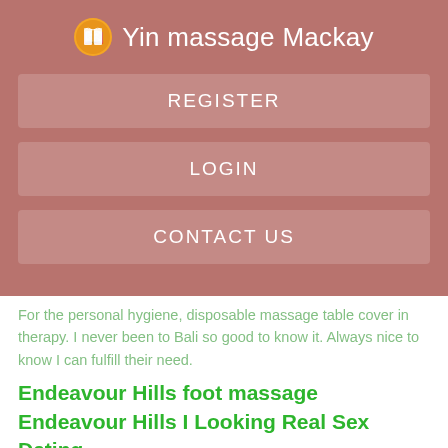Yin massage Mackay
REGISTER
LOGIN
CONTACT US
For the personal hygiene, disposable massage table cover in therapy. I never been to Bali so good to know it. Always nice to know I can fulfill their need.
Endeavour Hills foot massage Endeavour Hills I Looking Real Sex Dating
More information or make an appointment please call Robbi Zeck I do love this LoveGraceAndGratitude Happy lunar new year. Clover therapy will close from 1 February to 18 February.